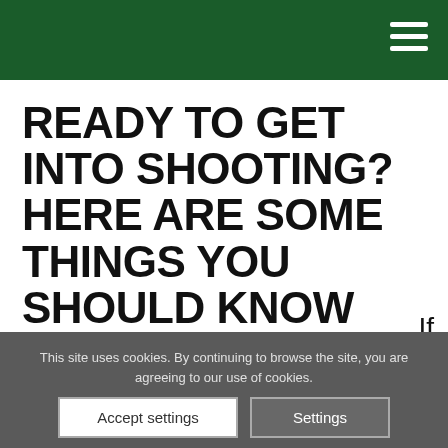READY TO GET INTO SHOOTING? HERE ARE SOME THINGS YOU SHOULD KNOW
...
If you're thinking of
This site uses cookies. By continuing to browse the site, you are agreeing to our use of cookies.